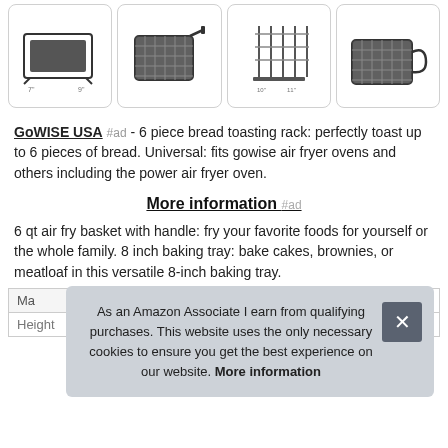[Figure (photo): Four product images of kitchen accessories: baking tray, air fry basket, bread rack, and wire basket with handle]
GoWISE USA #ad - 6 piece bread toasting rack: perfectly toast up to 6 pieces of bread. Universal: fits gowise air fryer ovens and others including the power air fryer oven.
More information #ad
6 qt air fry basket with handle: fry your favorite foods for yourself or the whole family. 8 inch baking tray: bake cakes, brownies, or meatloaf in this versatile 8-inch baking tray.
| Ma |  |
| Height | 1.5 Inches |
As an Amazon Associate I earn from qualifying purchases. This website uses the only necessary cookies to ensure you get the best experience on our website. More information